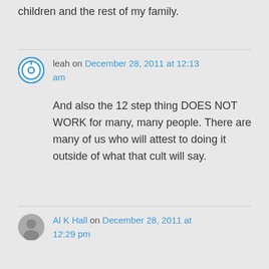children and the rest of my family.
leah on December 28, 2011 at 12:13 am
And also the 12 step thing DOES NOT WORK for many, many people. There are many of us who will attest to doing it outside of what that cult will say.
Al K Hall on December 28, 2011 at 12:29 pm